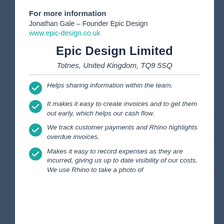For more information
Jonathan Gale – Founder Epic Design
www.epic-design.co.uk
Epic Design Limited
Totnes, United Kingdom, TQ9 5SQ
Helps sharing information within the team.
It makes it easy to create invoices and to get them out early, which helps our cash flow.
We track customer payments and Rhino highlights overdue invoices.
Makes it easy to record expenses as they are incurred, giving us up to date visibility of our costs. We use Rhino to take a photo of